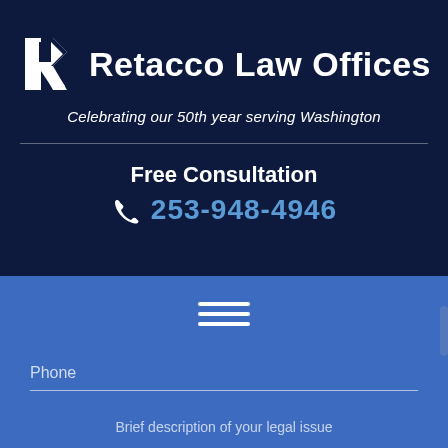[Figure (logo): Retacco Law Offices logo with stylized R icon and firm name in white on dark navy background, with italic tagline 'Celebrating our 50th year serving Washington']
Free Consultation
☎ 253-948-4946
[Figure (screenshot): Blue navigation bar with hamburger menu icon (three white horizontal lines)]
Phone
Brief description of your legal issue